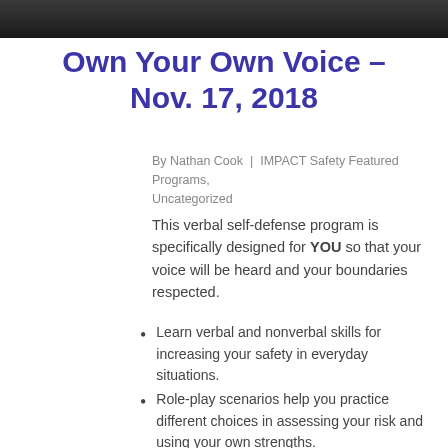[Figure (photo): Partial photo strip of a person at the top of the page, cropped to show only a dark background sliver]
Own Your Own Voice – Nov. 17, 2018
By Nathan Cook | IMPACT Safety Featured Programs, Uncategorized
This verbal self-defense program is specifically designed for YOU so that your voice will be heard and your boundaries respected.
Learn verbal and nonverbal skills for increasing your safety in everyday situations.
Role-play scenarios help you practice different choices in assessing your risk and using your own strengths.
Gain increased confidence, and practice setting boundaries.